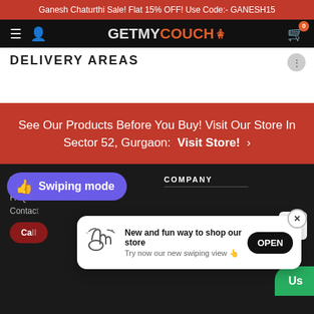Ganesh Chaturthi Sale! Flat 15% OFF! Use Code:- GANESH15
[Figure (screenshot): Website navigation bar with hamburger menu, user icon, GETMYCOUCH logo with sofa icon, and shopping cart with badge showing 0]
DELIVERY AREAS
See Our Products Before You Buy! Visit Our Store In Sector 52, Gurgaon:  Visit Store!  ›
NEED HELP
COMPANY
FAQ
Contact
Swiping mode
New and fun way to shop our store
Try now our new swiping view 👆
OPEN